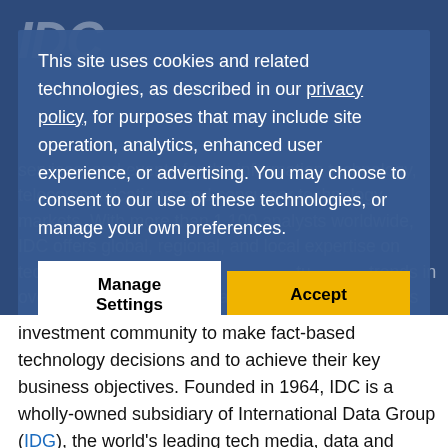This site uses cookies and related technologies, as described in our privacy policy, for purposes that may include site operation, analytics, enhanced user experience, or advertising. You may choose to consent to our use of these technologies, or manage your own preferences.
Manage Settings | Accept
services, and events for the information technology, telecommunications, and consumer technology markets. With more than 1,100 analysts worldwide, IDC offers global, regional, and local expertise on technology buyers and sellers. Future trends in over 110 countries. IDC's analysis and insight helps IT professionals, business executives, and the investment community to make fact-based technology decisions and to achieve their key business objectives. Founded in 1964, IDC is a wholly-owned subsidiary of International Data Group (IDG), the world's leading tech media, data and marketing services company. To learn more about IDC, please visit www.idc.com. Follow IDC on Twitter at @IDC